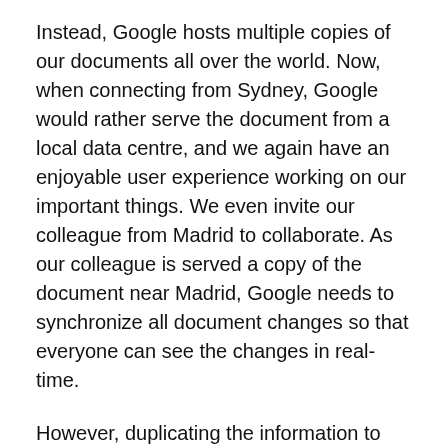Instead, Google hosts multiple copies of our documents all over the world. Now, when connecting from Sydney, Google would rather serve the document from a local data centre, and we again have an enjoyable user experience working on our important things. We even invite our colleague from Madrid to collaborate. As our colleague is served a copy of the document near Madrid, Google needs to synchronize all document changes so that everyone can see the changes in real-time.
However, duplicating the information to tens and hundreds of servers is expensive and may introduce inconsistencies. So, the servers need to occasionally perform full synchronization or store only parts of the documents in different locations.
In the dissertation, we looked at more general definitions of workflows similar to the above scenario. Instead of using algorithmic approaches (i.e. by using rsync), we applied